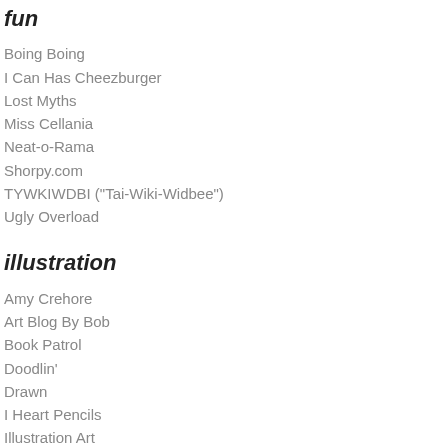fun
Boing Boing
I Can Has Cheezburger
Lost Myths
Miss Cellania
Neat-o-Rama
Shorpy.com
TYWKIWDBI ("Tai-Wiki-Widbee")
Ugly Overload
illustration
Amy Crehore
Art Blog By Bob
Book Patrol
Doodlin'
Drawn
I Heart Pencils
Illustration Art
Laurelines
Leanne Franson's Art Blog
Mike Lynch